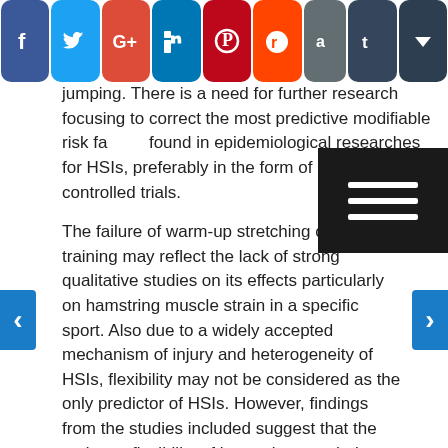[Figure (other): Social media sharing bar with icons: Facebook, Twitter, Google+, LinkedIn, Pinterest, Reddit, another icon, Tumblr, and a crown/save icon]
jumping. There is a need for further research focusing to correct the most predictive modifiable risk factors found in epidemiological researches for HSIs, preferably in the form of randomized controlled trials.
[Figure (other): Dark hamburger menu overlay box with three white horizontal lines]
The failure of warm-up stretching or flexibility training may reflect the lack of strong qualitative studies on its effects particularly on hamstring muscle strain in a specific sport. Also due to a widely accepted mechanism of injury and heterogeneity of HSIs, flexibility may not be considered as the only predictor of HSIs. However, findings from the studies included suggest that the optimum flexibility of hamstring may help to reduce HSIs. There is a need for further studies on this.